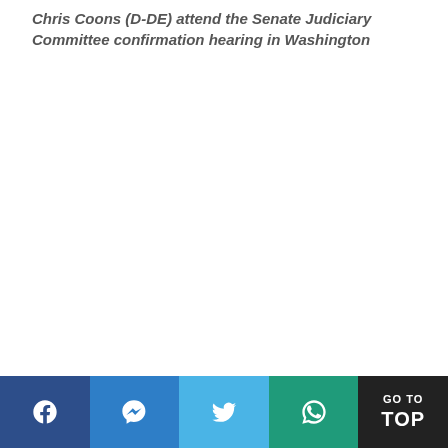Chris Coons (D-DE) attend the Senate Judiciary Committee confirmation hearing in Washington
[Figure (other): Social media share bar at the bottom with Facebook, Messenger, Twitter, WhatsApp buttons and a GO TO TOP button]